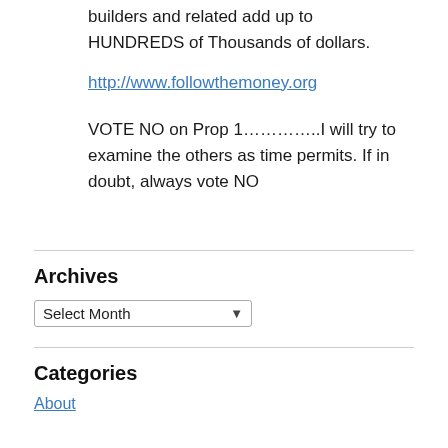builders and related add up to HUNDREDS of Thousands of dollars.
http://www.followthemoney.org
VOTE NO on Prop 1…………..I will try to examine the others as time permits. If in doubt, always vote NO
Archives
Select Month
Categories
About